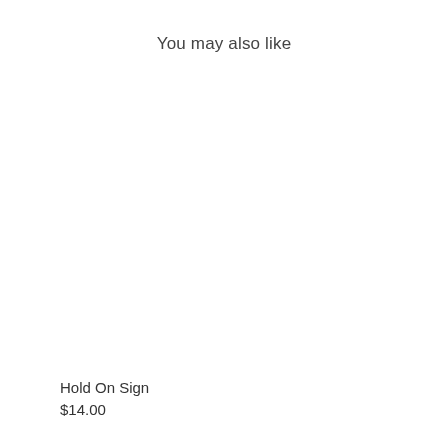You may also like
Hold On Sign
$14.00